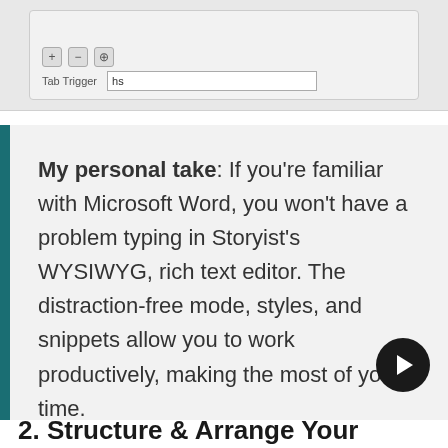[Figure (screenshot): Screenshot of a software interface showing a 'Tab Trigger' field with value 'hs', and toolbar buttons (plus, minus, settings) at the bottom left.]
My personal take: If you're familiar with Microsoft Word, you won't have a problem typing in Storyist's WYSIWYG, rich text editor. The distraction-free mode, styles, and snippets allow you to work productively, making the most of your time.
2. Structure & Arrange Your Work